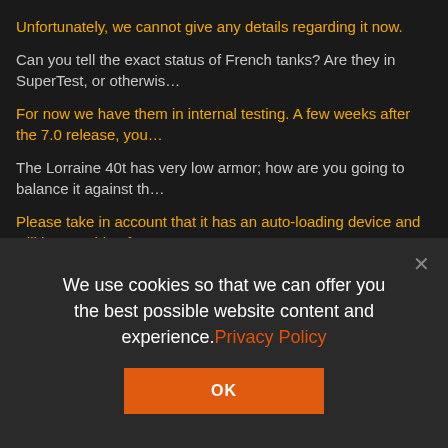Unfortunately, we cannot give any details regarding it now.
Can you tell the exact status of French tanks? Are they in SuperTest, or otherwis…
For now we have them in internal testing. A few weeks after the 7.0 release, you…
The Lorraine 40t has very low armor; how are you going to balance it against th…
Please take in account that it has an auto-loading device and will be capable of … Also, low armor=less weight=>more speed.
Can we have a video please? I really want to see the autoloader gun in action...
We will probably release a promo-video once French tanks enter the Open test.
When will the M18 Hellcat be released? Do you have any screens on the M18 H…
We can't provide you any screenshots for now. M18 is currently planned to be re…
Any news on tier 10 Tank Destroyers and Medium tanks? Will the US get a seco… medium line? (up to tier 9?) Are there any plans to add more lines to the french t…
We use cookies so that we can offer you the best possible website content and experience. Privacy Policy
OK